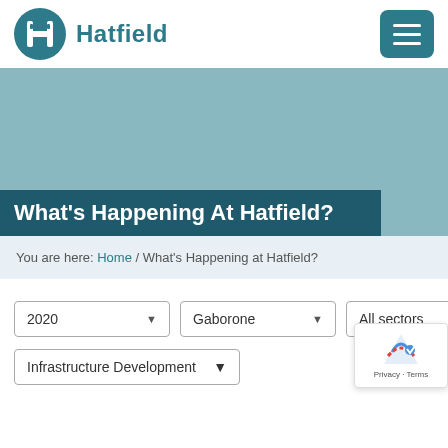Hatfield
[Figure (logo): Hatfield company logo with circular icon and text 'Hatfield']
What's Happening At Hatfield?
You are here: Home / What's Happening at Hatfield?
2020 ▾
Gaborone ▾
All sectors ▾
Infrastructure Development ▾